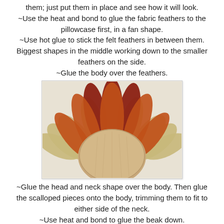them; just put them in place and see how it will look.
~Use the heat and bond to glue the fabric feathers to the pillowcase first, in a fan shape.
~Use hot glue to stick the felt feathers in between them. Biggest shapes in the middle working down to the smaller feathers on the side.
~Glue the body over the feathers.
[Figure (photo): A fabric turkey craft made from felt and fabric feathers arranged in a fan shape with a burlap body, displayed on a light background.]
~Glue the head and neck shape over the body. Then glue the scalloped pieces onto the body, trimming them to fit to either side of the neck.
~Use heat and bond to glue the beak down.
~Glue the wattle over the beak.
[Figure (photo): Partial view of the bottom of a craft project showing what appears to be a decorative border with orange/rust colored trim.]